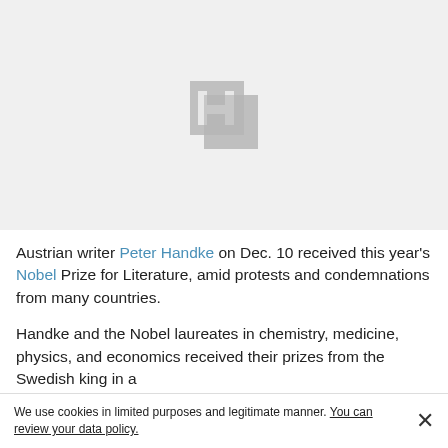[Figure (illustration): Gray placeholder image with an 'H' logo icon in the center on a light gray background]
Austrian writer Peter Handke on Dec. 10 received this year's Nobel Prize for Literature, amid protests and condemnations from many countries.
Handke and the Nobel laureates in chemistry, medicine, physics, and economics received their prizes from the Swedish king in a
We use cookies in limited purposes and legitimate manner. You can review your data policy.